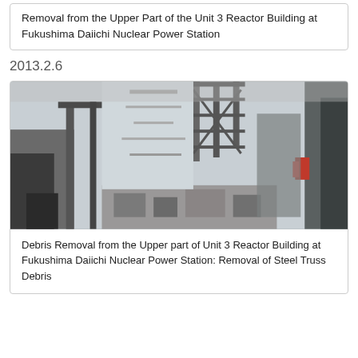Removal from the Upper Part of the Unit 3 Reactor Building at Fukushima Daiichi Nuclear Power Station
2013.2.6
[Figure (photo): Grayscale photograph showing debris removal machinery and rubble at the Unit 3 Reactor Building at Fukushima Daiichi Nuclear Power Station. Heavy equipment and structural debris visible.]
Debris Removal from the Upper part of Unit 3 Reactor Building at Fukushima Daiichi Nuclear Power Station: Removal of Steel Truss Debris